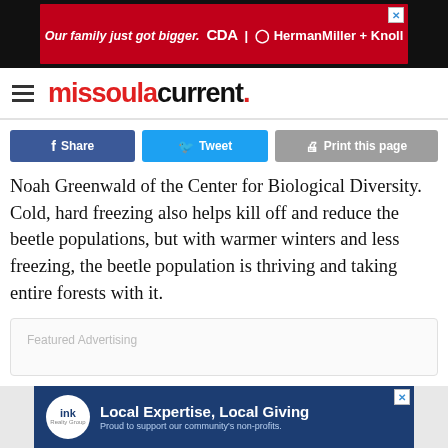[Figure (screenshot): Top banner advertisement: black background with red ad area showing 'Our family just got bigger. CDA | HermanMiller + Knoll' in white italic text on red background]
missoula current.
[Figure (screenshot): Social sharing buttons: Facebook Share (dark blue), Tweet (light blue), Print this page (gray)]
Noah Greenwald of the Center for Biological Diversity. Cold, hard freezing also helps kill off and reduce the beetle populations, but with warmer winters and less freezing, the beetle population is thriving and taking entire forests with it.
Featured Advertising
[Figure (screenshot): Bottom banner advertisement: dark blue background with ink Realty Group logo circle and text 'Local Expertise, Local Giving — Proud to support our community's non-profits.']